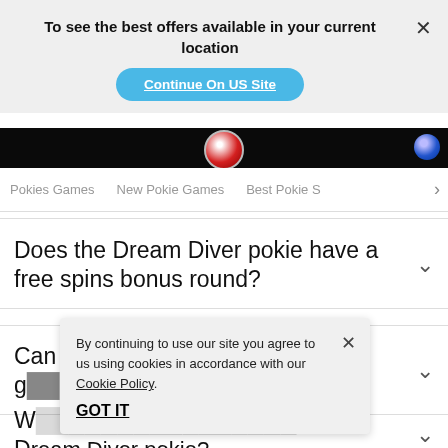To see the best offers available in your current location
Continue On US Site
[Figure (screenshot): Dark banner with poker chips visible]
Pokies Games   New Pokie Games   Best Pokie S >
Does the Dream Diver pokie have a free spins bonus round?
Can I play the Dream Diver pokies g...
W... to the Dream Diver pokie?
By continuing to use our site you agree to us using cookies in accordance with our Cookie Policy. GOT IT